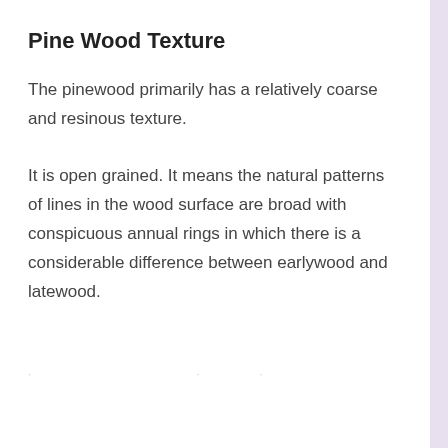Pine Wood Texture
The pinewood primarily has a relatively coarse and resinous texture.
It is open grained. It means the natural patterns of lines in the wood surface are broad with conspicuous annual rings in which there is a considerable difference between earlywood and latewood.